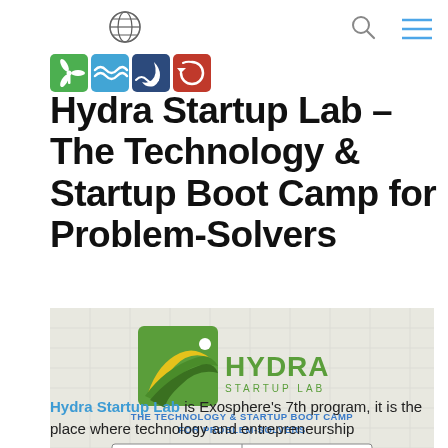Globe icon, search icon, menu icon
[Figure (logo): Row of four colored icon squares: green wind turbine, blue waves, dark blue moon/water, dark red circular arrow]
Hydra Startup Lab – The Technology & Startup Boot Camp for Problem-Solvers
[Figure (illustration): Hydra Startup Lab banner image showing the Hydra logo (eagle/wave in green square) with text 'HYDRA STARTUP LAB', subtitle 'THE TECHNOLOGY & STARTUP BOOT CAMP FOR PROBLEM-SOLVERS', and box reading 'JOIN US in Reñaca Beach, Viña del Mar, Chile | JAN 11 – MAR 4, 2016']
Hydra Startup Lab is Exosphere's 7th program, it is the place where technology and entrepreneurship